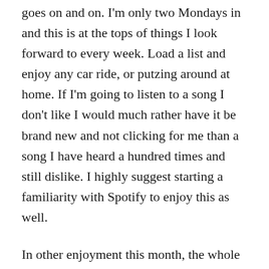goes on and on. I'm only two Mondays in and this is at the tops of things I look forward to every week. Load a list and enjoy any car ride, or putzing around at home. If I'm going to listen to a song I don't like I would much rather have it be brand new and not clicking for me than a song I have heard a hundred times and still dislike. I highly suggest starting a familiarity with Spotify to enjoy this as well.
In other enjoyment this month, the whole family went to see Lego Movie 2. If you've seen the first movie I think that hurts this one a bit. The third act is into the first one in some places. It is at the